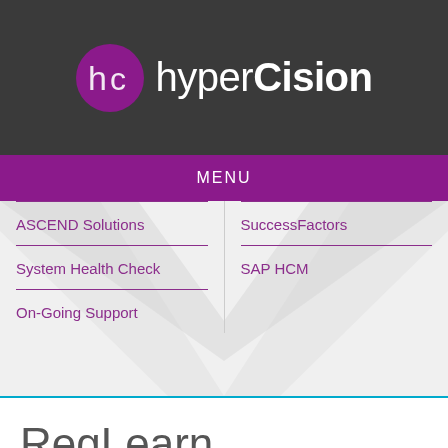[Figure (logo): hyperCision logo with purple circle containing 'hc' monogram and white text 'hyperCision' beside it on dark gray background]
MENU
ASCEND Solutions
SuccessFactors
System Health Check
SAP HCM
On-Going Support
RegLearn
[Figure (photo): Partial image strip at bottom, colorful blue/teal tones]